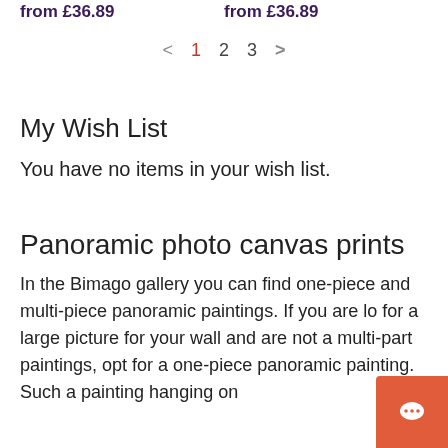from £36.89   from £36.89
< 1 2 3 >
My Wish List
You have no items in your wish list.
Panoramic photo canvas prints
In the Bimago gallery you can find one-piece and multi-piece panoramic paintings. If you are lo... for a large picture for your wall and are not a... multi-part paintings, opt for a one-piece panoramic painting. Such a painting hanging on...